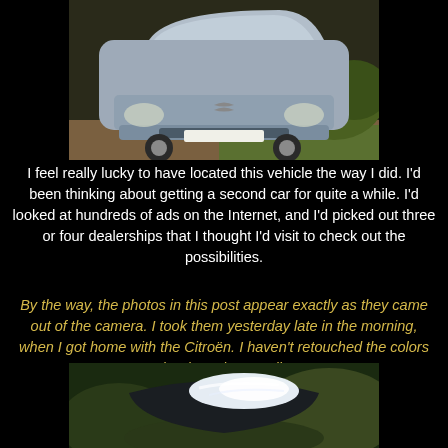[Figure (photo): Front view of a silver/grey Citroën car parked on a gravel/dirt area with green shrubbery in the background]
I feel really lucky to have located this vehicle the way I did. I'd been thinking about getting a second car for quite a while. I'd looked at hundreds of ads on the Internet, and I'd picked out three or four dealerships that I thought I'd visit to check out the possibilities.
By the way, the photos in this post appear exactly as they came out of the camera. I took them yesterday late in the morning, when I got home with the Citroën. I haven't retouched the colors in Photoshop at all.
[Figure (photo): Close-up top-down view of a dark Citroën car roof with bright sunlight reflection, surrounded by green foliage]